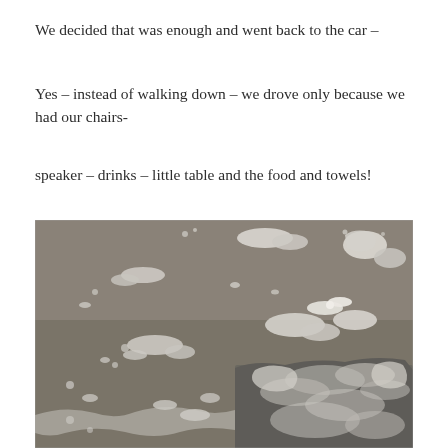We decided that was enough and went back to the car –
Yes – instead of walking down – we drove only because we had our chairs-
speaker – drinks – little table and the food and towels!
[Figure (photo): Aerial or bird's-eye view of a wet sandy beach with white sea foam patches scattered across the dark wet sand surface. The foam forms irregular blob shapes spread across the beach, with a mass of foam and wet gravel visible in the lower right portion of the image. The image is in black and white or desaturated tones.]